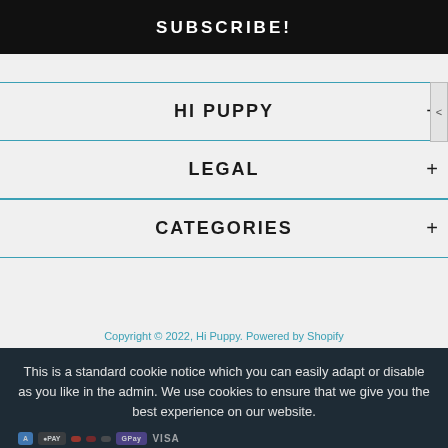SUBSCRIBE!
HI PUPPY
LEGAL
CATEGORIES
Copyright © 2022, Hi Puppy. Powered by Shopify
This is a standard cookie notice which you can easily adapt or disable as you like in the admin. We use cookies to ensure that we give you the best experience on our website.
PRIVACY POLICY    ACCEPT ✓
↑ TOP